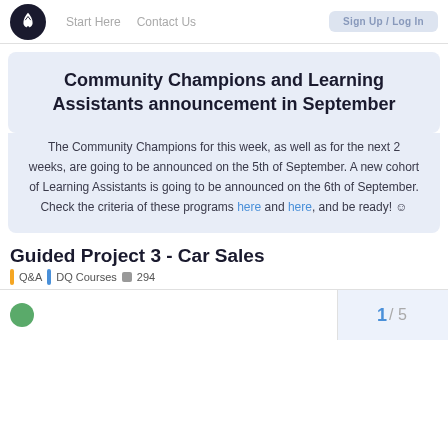Start Here   Contact Us
Community Champions and Learning Assistants announcement in September
The Community Champions for this week, as well as for the next 2 weeks, are going to be announced on the 5th of September. A new cohort of Learning Assistants is going to be announced on the 6th of September. Check the criteria of these programs here and here, and be ready! ☺
Guided Project 3 - Car Sales
Q&A   DQ Courses   294
1 / 5